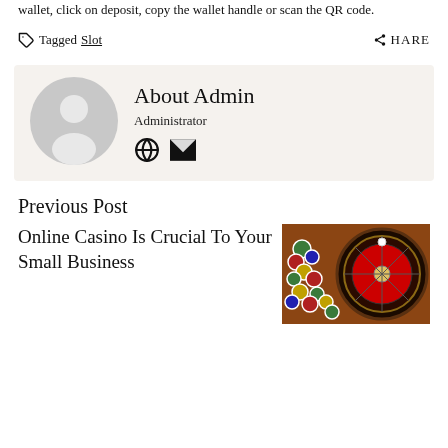wallet, click on deposit, copy the wallet handle or scan the QR code.
Tagged Slot   ●SHARE
[Figure (illustration): Author bio box with gray avatar/silhouette placeholder, showing 'About Admin', role 'Administrator', globe icon and mail icon]
Previous Post
Online Casino Is Crucial To Your Small Business
[Figure (photo): A roulette wheel with colorful casino chips in the background, close-up shot]